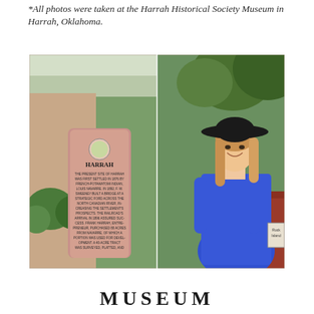*All photos were taken at the Harrah Historical Society Museum in Harrah, Oklahoma.
[Figure (photo): Two-panel photograph. Left panel shows a pink granite historical marker for Harrah, Oklahoma, standing in front of a building with green shrubs. The marker reads: HARRAH - THE PRESENT SITE OF HARRAH WAS FIRST SETTLED IN 1876 BY FRENCH-POTAWATOMI INDIAN, LOUIS NAVARRE. IN 1892, F.W. SWEENEY BUILT A BRIDGE AT A STRATEGIC FORD ACROSS THE NORTH CANADIAN RIVER, INCREASING THE SETTLEMENT'S PROSPECTS. THE RAILROAD'S ARRIVAL IN 1896 ASSURED SUCCESS. FRANK HARRAH, ENTREPRENEUR, PURCHASED 80 ACRES FROM NAVARRE, OF WHICH A PORTION WAS USED FOR DEVELOPMENT. A 40-ACRE TRACT WAS SURVEYED, PLATTED, AND OFFICIALLY ENTERED AS THE TOWN OF HARRAH ON FEB. 18, 1898. THIS MARKER STANDS WITHIN THE ORIGINAL TRACT IN THE HEART OF THE TOWN'S EARLY BUSINESS DISTRICT. Right panel shows a smiling woman with long blonde hair wearing a large black wide-brim hat and a bright blue long-sleeve dress, standing outdoors in front of green trees and a red building.]
MUSEUM